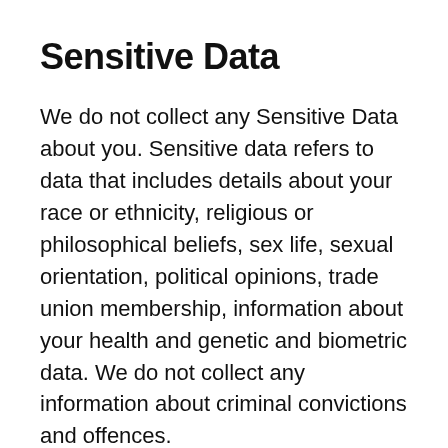Sensitive Data
We do not collect any Sensitive Data about you. Sensitive data refers to data that includes details about your race or ethnicity, religious or philosophical beliefs, sex life, sexual orientation, political opinions, trade union membership, information about your health and genetic and biometric data. We do not collect any information about criminal convictions and offences.